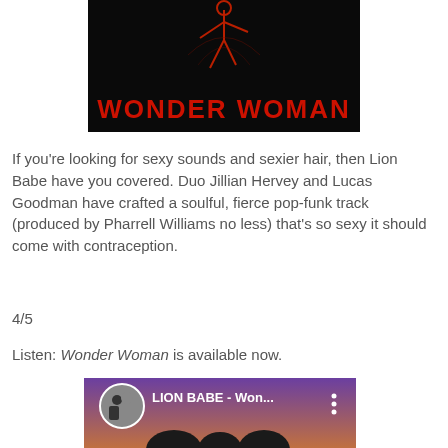[Figure (photo): Album art / promotional image for 'Wonder Woman' by Lion Babe — dark background with red neon figure outline and bold red text reading WONDER WOMAN]
If you're looking for sexy sounds and sexier hair, then Lion Babe have you covered. Duo Jillian Hervey and Lucas Goodman have crafted a soulful, fierce pop-funk track (produced by Pharrell Williams no less) that's so sexy it should come with contraception.
4/5
Listen: Wonder Woman is available now.
[Figure (screenshot): YouTube video thumbnail showing Lion Babe - Won... with circular profile image of duo in black and white, purple/warm background with silhouetted figures at bottom]